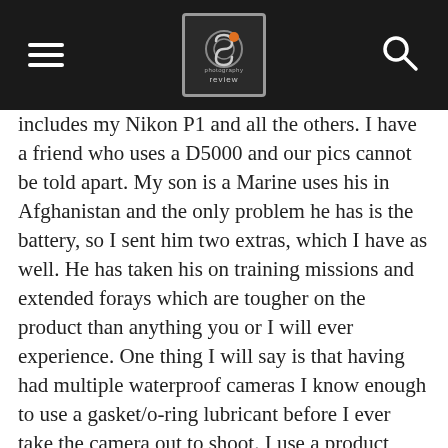photography review
includes my Nikon P1 and all the others. I have a friend who uses a D5000 and our pics cannot be told apart. My son is a Marine uses his in Afghanistan and the only problem he has is the battery, so I sent him two extras, which I have as well. He has taken his on training missions and extended forays which are tougher on the product than anything you or I will ever experience. One thing I will say is that having had multiple waterproof cameras I know enough to use a gasket/o-ring lubricant before I ever take the camera out to shoot. I use a product called shinitzu grease (can be purchased at Honda Parts locations in their car dealerships) but Nikon sells their own and it has worked very well on my Nikonos. You may have had problems with yours, but mine has been fantastic. I would buy one again. Unfortunately, being a customer service rep myself, if I got bad customer service from corporate, I'd bail on the product myself.